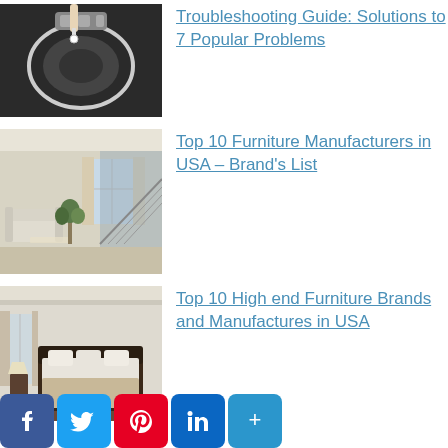[Figure (photo): A hand using a dropper/syringe near a washing machine lint trap or similar appliance part]
Troubleshooting Guide: Solutions to 7 Popular Problems
[Figure (photo): A luxury living room interior with white sofa, glass staircase and marble floor]
Top 10 Furniture Manufacturers in USA – Brand's List
[Figure (photo): A high-end bedroom with white walls, dark bed frame and elegant furnishings]
Top 10 High end Furniture Brands and Manufactures in USA